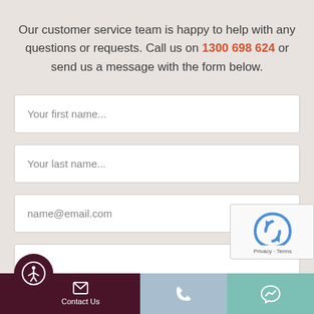Our customer service team is happy to help with any questions or requests. Call us on 1300 698 624 or send us a message with the form below.
[Figure (screenshot): Contact form with three input fields: 'Your first name...', 'Your last name...', 'name@email.com', and a partially visible phone number field. A reCAPTCHA widget is overlaid on the right. Below is a dark maroon bottom navigation bar with accessibility icon, Contact Us label, phone icon, and messenger icon.]